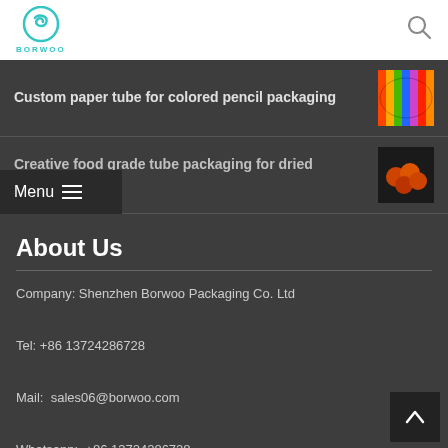[Figure (logo): Borwoo logo: teal swirl icon above the text BORWOO]
[Figure (other): Search magnifying glass icon]
Custom paper tube for colored pencil packaging
[Figure (photo): Thumbnail of colorful pencil tube packaging]
Creative food grade tube packaging for dried oranges
[Figure (photo): Thumbnail of dark tube packaging for dried oranges]
Menu
About Us
Company: Shenzhen Borwoo Packaging Co. Ltd

Tel: +86 13724286728

Mail:  sales06@borwoo.com

Whatsapp:  +86 13724286728